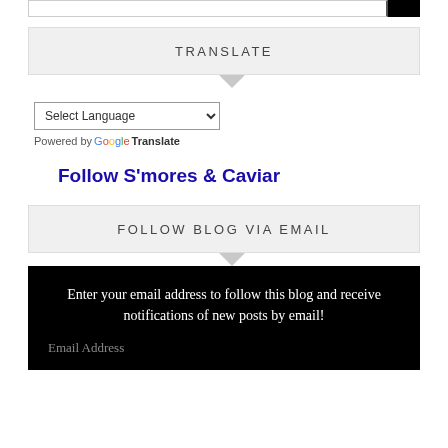TRANSLATE
Select Language
Powered by Google Translate
Follow S'mores & Caviar
FOLLOW BLOG VIA EMAIL
Enter your email address to follow this blog and receive notifications of new posts by email!
Email Address